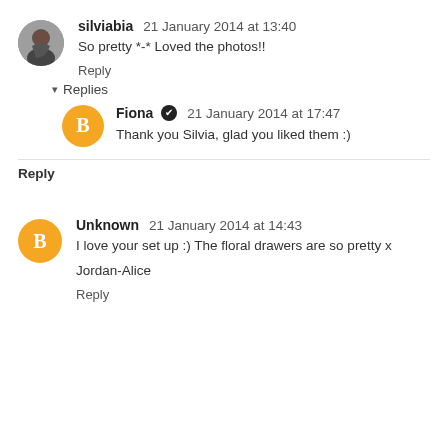[Figure (photo): Circular avatar photo of Silvia - a person with dark hair, small headshot]
silviabia  21 January 2014 at 13:40
So pretty *-* Loved the photos!!
Reply
▾  Replies
[Figure (logo): Orange circular Blogger avatar icon with white B letter for Fiona]
Fiona ✔  21 January 2014 at 17:47
Thank you Silvia, glad you liked them :)
Reply
[Figure (logo): Orange circular Blogger avatar icon with white B letter for Unknown]
Unknown  21 January 2014 at 14:43
I love your set up :) The floral drawers are so pretty x
Jordan-Alice
Reply